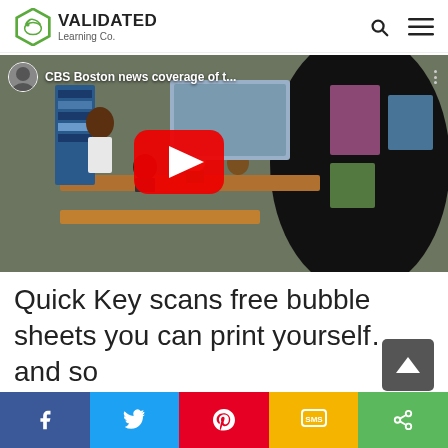Validated Learning Co.
[Figure (screenshot): YouTube video thumbnail showing a classroom scene with students at desks. Title bar reads: CBS Boston news coverage of t...]
Quick Key scans free bubble sheets you can print yourself… and so